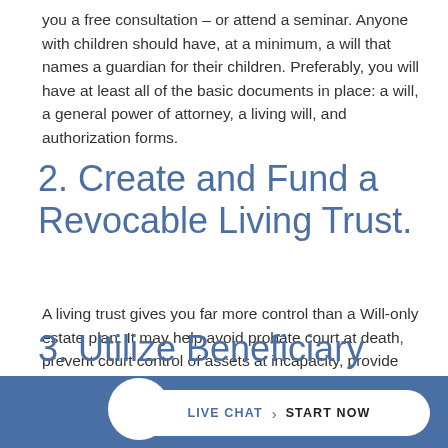you a free consultation – or attend a seminar. Anyone with children should have, at a minimum, a will that names a guardian for their children. Preferably, you will have at least all of the basic documents in place: a will, a general power of attorney, a living will, and authorization forms.
2. Create and Fund a Revocable Living Trust.
A living trust gives you far more control than a Will-only estate plan. It may help avoid probate court at death, prevent court control of assets at incapacity, provide maximum privacy to your family, allow for an efficient distribution of assets to your beneficiaries, and prevent unintentional disinheriting in the case of subsequent marriages.
3. Utilize Beneficiary